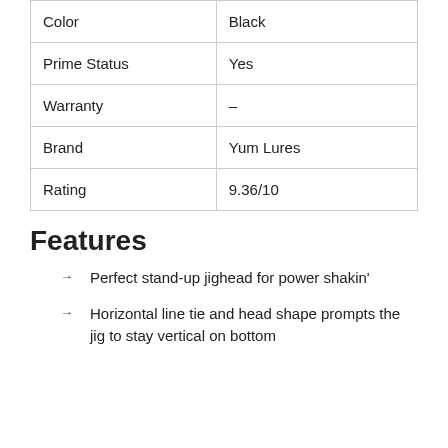| Color | Black |
| Prime Status | Yes |
| Warranty | – |
| Brand | Yum Lures |
| Rating | 9.36/10 |
Features
Perfect stand-up jighead for power shakin'
Horizontal line tie and head shape prompts the jig to stay vertical on bottom